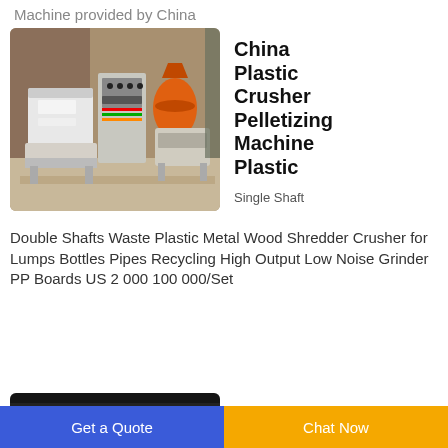Machine provided by China
[Figure (photo): Industrial plastic crusher pelletizing machine with control panel and orange drum components, set in a workshop/factory]
China Plastic Crusher Pelletizing Machine Plastic
Single Shaft
Double Shafts Waste Plastic Metal Wood Shredder Crusher for Lumps Bottles Pipes Recycling High Output Low Noise Grinder PP Boards US 2 000 100 000/Set
[Figure (photo): Partially visible image of a second product (dark/industrial machinery) at the bottom of the page]
Get a Quote | Chat Now